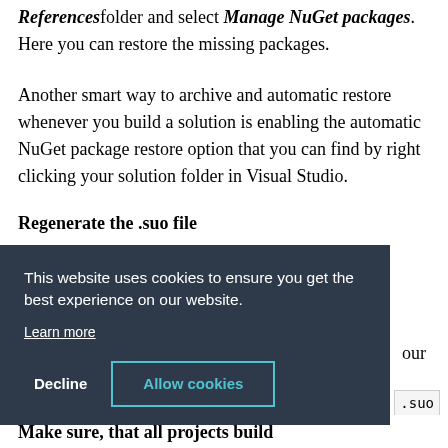References folder and select Manage NuGet packages. Here you can restore the missing packages.
Another smart way to archive and automatic restore whenever you build a solution is enabling the automatic NuGet package restore option that you can find by right clicking your solution folder in Visual Studio.
Regenerate the .suo file
This website uses cookies to ensure you get the best experience on our website.
Learn more
Decline
Allow cookies
Make sure, that all projects build